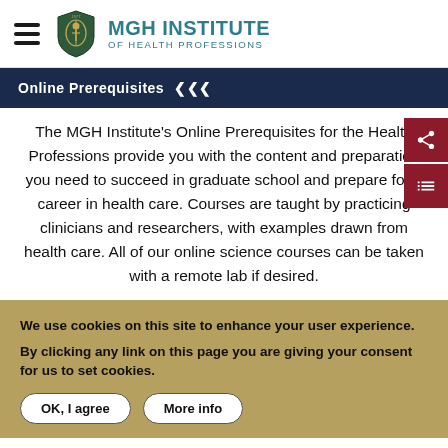[Figure (logo): MGH Institute of Health Professions logo with shield emblem and hamburger menu icon]
Online Prerequisites ❯❯❯
The MGH Institute's Online Prerequisites for the Health Professions provide you with the content and preparation you need to succeed in graduate school and prepare for a career in health care. Courses are taught by practicing clinicians and researchers, with examples drawn from health care. All of our online science courses can be taken with a remote lab if desired.
We use cookies on this site to enhance your user experience. By clicking any link on this page you are giving your consent for us to set cookies.